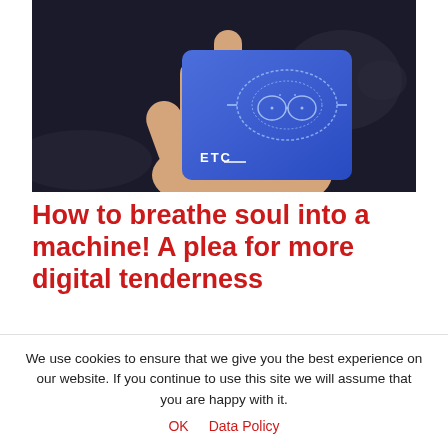[Figure (photo): A hand holding a blue book or card with a stylized VR headset graphic and the text 'ETC' printed on it, against a dark background.]
How to breathe soul into a machine! A plea for more digital tenderness
– by Christian Römer The digital age! (…) Can we turn it off? Real people want to see real people! The voices from Mount Olympus sounded so sceptical at the beginning of the millennium. Meanwhile, cultural
We use cookies to ensure that we give you the best experience on our website. If you continue to use this site we will assume that you are happy with it.
OK   Data Policy